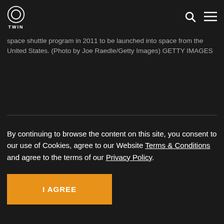TWIN
space shuttle program in 2011 to be launched into space from the United States. (Photo by Joe Raedle/Getty Images) GETTY IMAGES
By continuing to browse the content on this site, you consent to our use of Cookies, agree to our Website Terms & Conditions and agree to the terms of our Privacy Policy.
I AGREE